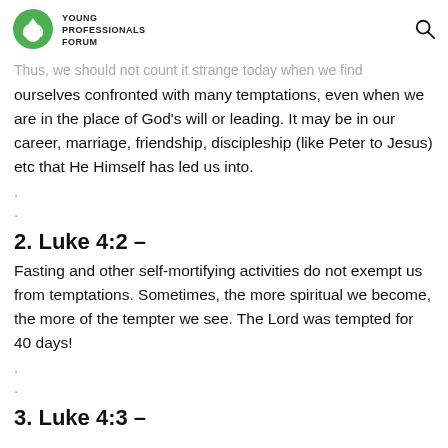YOUNG PROFESSIONALS FORUM
Thus, we should not count it strange today when we find ourselves confronted with many temptations, even when we are in the place of God's will or leading. It may be in our career, marriage, friendship, discipleship (like Peter to Jesus) etc that He Himself has led us into.
.
.
2. Luke 4:2 –
Fasting and other self-mortifying activities do not exempt us from temptations. Sometimes, the more spiritual we become, the more of the tempter we see. The Lord was tempted for 40 days!
.
.
3. Luke 4:3 –